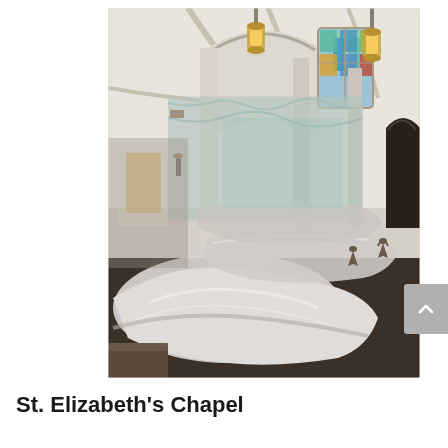[Figure (photo): Interior of St. Elizabeth's Chapel during renovation or restoration. Pews and furnishings are covered with large plastic sheeting/tarps. Vaulted arched ceiling with hanging lantern lights, stained glass windows visible in background. Plastic curtains covering the altar area.]
St. Elizabeth's Chapel